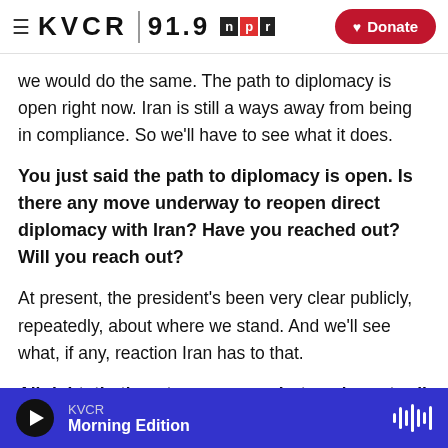KVCR 91.9 npr | Donate
we would do the same. The path to diplomacy is open right now. Iran is still a ways away from being in compliance. So we'll have to see what it does.
You just said the path to diplomacy is open. Is there any move underway to reopen direct diplomacy with Iran? Have you reached out? Will you reach out?
At present, the president's been very clear publicly, repeatedly, about where we stand. And we'll see what, if any, reaction Iran has to that.
All right, that's not a yes or no, but you're not ruling
KVCR Morning Edition